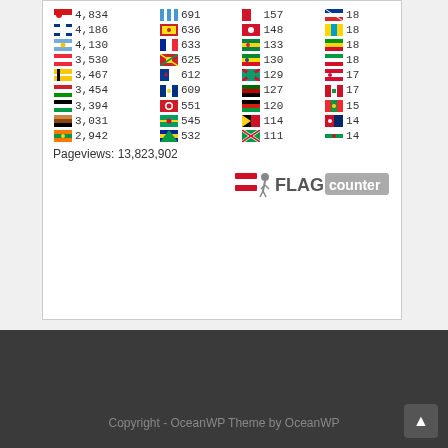[Figure (infographic): Flag counter widget showing country flags with visit counts. 4 columns of data. Rows: CZ 4,834 | GT 691 | IM 157 | IS 18 | FI 4,186 | MK(red) 636 | IM(red) 148 | KZ 18 | AR 4,130 | FR 633 | SN 133 | (red) 18 | AT 3,530 | MK 625 | ET 130 | ML 18 | BT 3,467 | NP 612 | NA 129 | SD 17 | HU 3,454 | (blue/gold) 609 | KE 127 | BI 17 | TJ 3,394 | (red circle) 551 | AF 120 | BF 15 | (brown) 3,031 | GH 545 | PG 114 | TW 14 | LK 2,942 | BA 532 | 111 | TM 14. Pageviews: 13,823,902]
Pageviews: 13,823,902
Copyright - OceanWP Theme by OceanWP